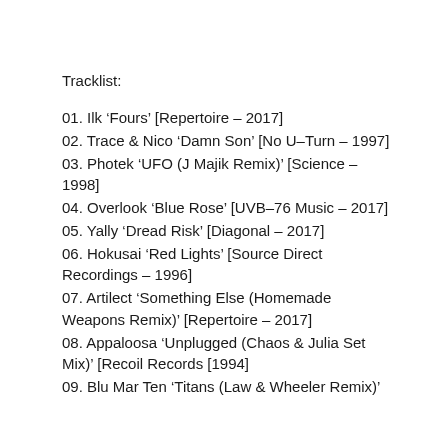Tracklist:
01. Ilk ‘Fours’ [Repertoire – 2017]
02. Trace & Nico ‘Damn Son’ [No U-Turn – 1997]
03. Photek ‘UFO (J Majik Remix)’ [Science – 1998]
04. Overlook ‘Blue Rose’ [UVB-76 Music – 2017]
05. Yally ‘Dread Risk’ [Diagonal – 2017]
06. Hokusai ‘Red Lights’ [Source Direct Recordings – 1996]
07. Artilect ‘Something Else (Homemade Weapons Remix)’ [Repertoire – 2017]
08. Appaloosa ‘Unplugged (Chaos & Julia Set Mix)’ [Recoil Records [1994]
09. Blu Mar Ten ‘Titans (Law & Wheeler Remix)’